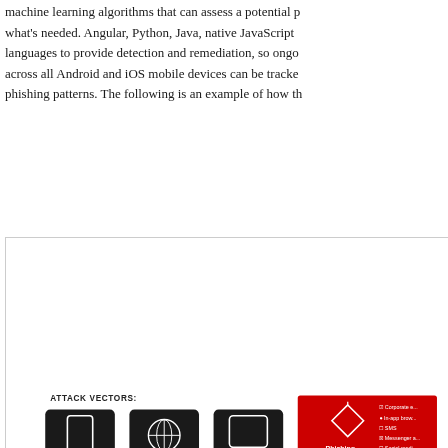machine learning algorithms that can assess a potential p... what's needed. Angular, Python, Java, native JavaScript... languages to provide detection and remediation, so ongo... across all Android and iOS mobile devices can be tracke... phishing patterns. The following is an example of how th...
[Figure (infographic): Attack vectors diagram showing Device, Network, Application, and Phishing vectors with arrows pointing down onto layered mobile device illustration. Attack vectors include Corporate email, In-app browser, SMS, Messenger apps, Social media.]
2. Using machine learning to glean new insights out... organizations' entire population of mobile devices cr...